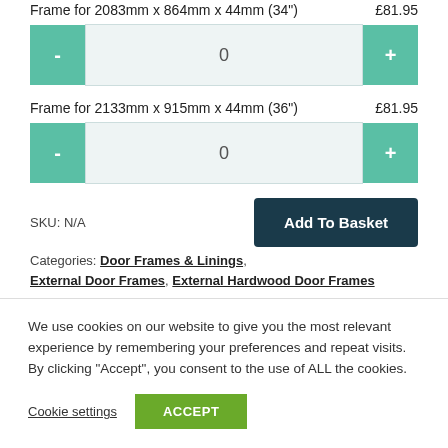Frame for 2083mm x 864mm x 44mm (34") £81.95
0
Frame for 2133mm x 915mm x 44mm (36") £81.95
0
SKU: N/A
Add To Basket
Categories: Door Frames & Linings, External Door Frames, External Hardwood Door Frames
We use cookies on our website to give you the most relevant experience by remembering your preferences and repeat visits. By clicking “Accept”, you consent to the use of ALL the cookies.
Cookie settings
ACCEPT